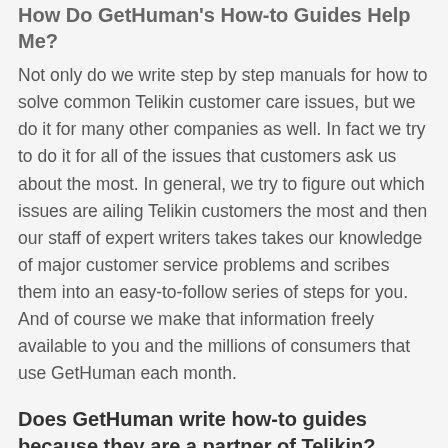How Do GetHuman's How-to Guides Help Me?
Not only do we write step by step manuals for how to solve common Telikin customer care issues, but we do it for many other companies as well. In fact we try to do it for all of the issues that customers ask us about the most. In general, we try to figure out which issues are ailing Telikin customers the most and then our staff of expert writers takes takes our knowledge of major customer service problems and scribes them into an easy-to-follow series of steps for you. And of course we make that information freely available to you and the millions of consumers that use GetHuman each month.
Does GetHuman write how-to guides because they are a partner of Telikin?